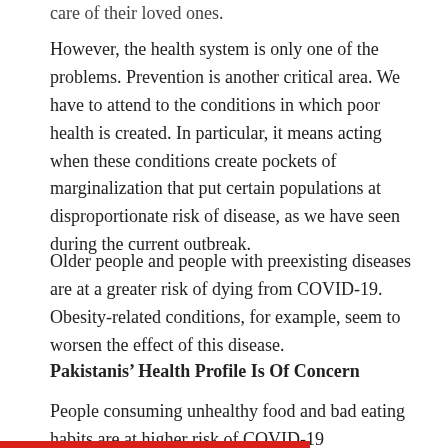care of their loved ones.
However, the health system is only one of the problems. Prevention is another critical area. We have to attend to the conditions in which poor health is created. In particular, it means acting when these conditions create pockets of marginalization that put certain populations at disproportionate risk of disease, as we have seen during the current outbreak.
Older people and people with preexisting diseases are at a greater risk of dying from COVID-19. Obesity-related conditions, for example, seem to worsen the effect of this disease.
Pakistanis’ Health Profile Is Of Concern
People consuming unhealthy food and bad eating habits are at higher risk of COVID-19 complications. Pakistan is